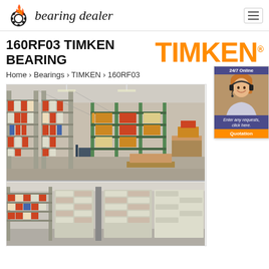bearing dealer
160RF03 TIMKEN BEARING
[Figure (logo): TIMKEN orange brand logo with registered trademark symbol]
Home › Bearings › TIMKEN › 160RF03
[Figure (photo): Warehouse interior with tall industrial shelving stocked with bearing boxes and packages, two-panel composite photo showing large warehouse aisles and a smaller parts storage area]
[Figure (photo): 24/7 Online customer service chat widget showing a female customer service representative with headset, with text 'Enter any requests, click here.' and an orange 'Quotation' button]